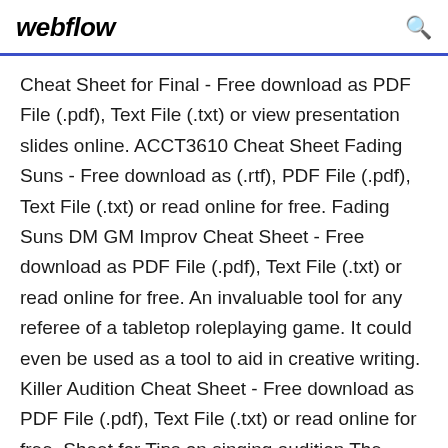webflow
Cheat Sheet for Final - Free download as PDF File (.pdf), Text File (.txt) or view presentation slides online. ACCT3610 Cheat Sheet Fading Suns - Free download as (.rtf), PDF File (.pdf), Text File (.txt) or read online for free. Fading Suns DM GM Improv Cheat Sheet - Free download as PDF File (.pdf), Text File (.txt) or read online for free. An invaluable tool for any referee of a tabletop roleplaying game. It could even be used as a tool to aid in creative writing. Killer Audition Cheat Sheet - Free download as PDF File (.pdf), Text File (.txt) or read online for free. Sheet for Tips on singing audition The Voice Club RSpec:Expectations Cheat Sheet - Free download as PDF File (.pdf), Text File (.txt)